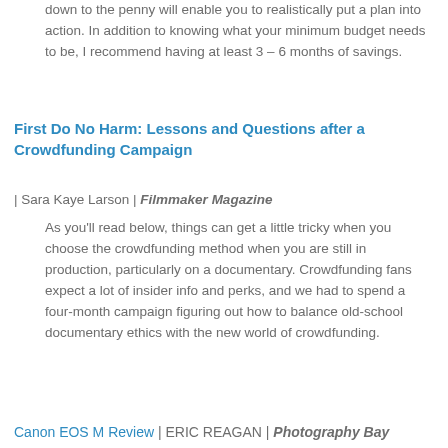down to the penny will enable you to realistically put a plan into action. In addition to knowing what your minimum budget needs to be, I recommend having at least 3 – 6 months of savings.
First Do No Harm: Lessons and Questions after a Crowdfunding Campaign
| Sara Kaye Larson | Filmmaker Magazine
As you'll read below, things can get a little tricky when you choose the crowdfunding method when you are still in production, particularly on a documentary. Crowdfunding fans expect a lot of insider info and perks, and we had to spend a four-month campaign figuring out how to balance old-school documentary ethics with the new world of crowdfunding.
Canon EOS M Review | ERIC REAGAN | Photography Bay